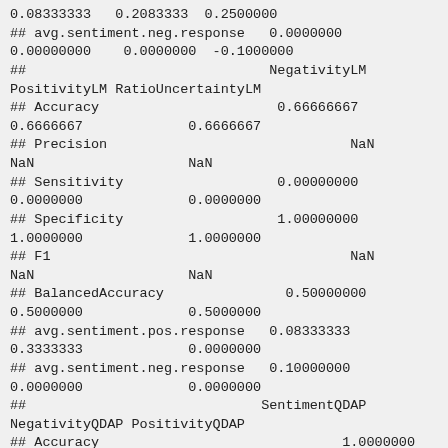0.08333333   0.2083333  0.2500000
## avg.sentiment.neg.response   0.0000000
0.00000000    0.0000000  -0.1000000
##                              NegativityLM
PositivityLM RatioUncertaintyLM
## Accuracy                      0.66666667
0.6666667             0.6666667
## Precision                              NaN
NaN                   NaN
## Sensitivity                   0.00000000
0.0000000             0.0000000
## Specificity                   1.00000000
1.0000000             1.0000000
## F1                                     NaN
NaN                   NaN
## BalancedAccuracy               0.50000000
0.5000000             0.5000000
## avg.sentiment.pos.response   0.08333333
0.3333333             0.0000000
## avg.sentiment.neg.response   0.10000000
0.0000000             0.0000000
##                             SentimentQDAP
NegativityQDAP PositivityQDAP
## Accuracy                              1.0000000